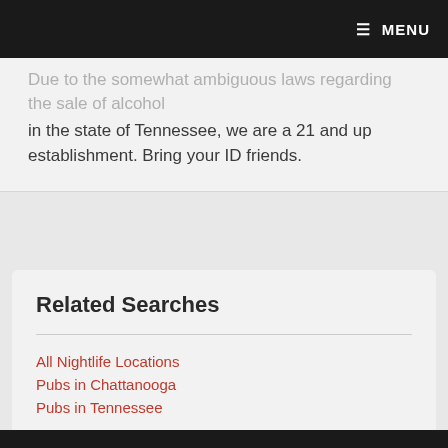☰ MENU
in the state of Tennessee, we are a 21 and up establishment. Bring your ID friends.
Related Searches
All Nightlife Locations
Pubs in Chattanooga
Pubs in Tennessee